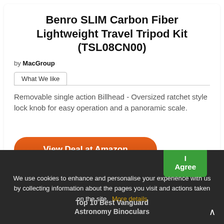Benro SLIM Carbon Fiber Lightweight Travel Tripod Kit (TSL08CN00)
by MacGroup
What We like
Removable single action Billhead - Oversized ratchet style lock knob for easy operation and a panoramic scale.
View Deal at Amazon
more info
View Deal at Walmart
Related Products
We use cookies to enhance and personalise your experience with us by collecting information about the pages you visit and actions taken on the site. More details
I Agree
Top 10 Best Vanguard Astronomy Binoculars